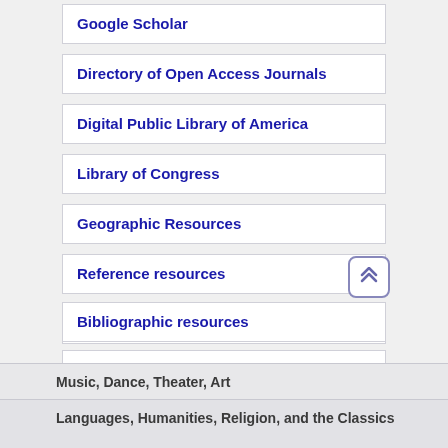Google Scholar
Directory of Open Access Journals
Digital Public Library of America
Library of Congress
Geographic Resources
Reference resources
Cultural Heritage Resources
Bibliographic resources
Biographical Resources
Education resources
Music, Dance, Theater, Art
Languages, Humanities, Religion, and the Classics